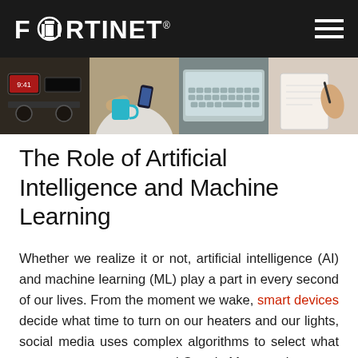FORTINET
[Figure (photo): Four-panel photo strip showing: car dashboard interior, person holding coffee mug and phone, laptop keyboard, person writing or using a tablet]
The Role of Artificial Intelligence and Machine Learning
Whether we realize it or not, artificial intelligence (AI) and machine learning (ML) play a part in every second of our lives. From the moment we wake, smart devices decide what time to turn on our heaters and our lights, social media uses complex algorithms to select what news to promote to us, and Google Maps navigates us through our day. Even while we sleep, AI monitors our sleeping patterns—